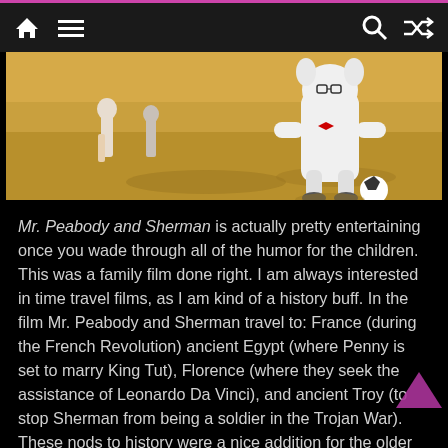Navigation bar with home, menu, search, and shuffle icons
[Figure (screenshot): Animated scene from Mr. Peabody and Sherman showing characters running on a sandy ground, a white dog-like figure and a child in the background]
Mr. Peabody and Sherman is actually pretty entertaining once you wade through all of the humor for the children. This was a family film done right. I am always interested in time travel films, as I am kind of a history buff. In the film Mr. Peabody and Sherman travel to: France (during the French Revolution) ancient Egypt (where Penny is set to marry King Tut), Florence (where they seek the assistance of Leonardo Da Vinci), and ancient Troy (to stop Sherman from being a soldier in the Trojan War). These nods to history were a nice addition for the older demo in the